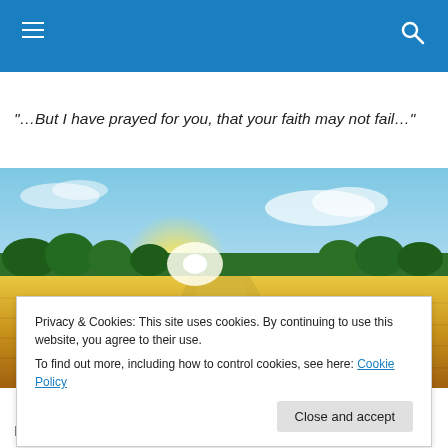Navigation bar with hamburger menu and search icon
"…But I have prayed for you, that your faith may not fail…"
[Figure (photo): Wide landscape photo of a golden wheat field with a dirt path leading toward a bright sunrise, with green trees lining the horizon under a partly cloudy blue sky.]
Privacy & Cookies: This site uses cookies. By continuing to use this website, you agree to their use.
To find out more, including how to control cookies, see here: Cookie Policy
[Close and accept button]
I took Norah out after I got home tonight. Since it's below